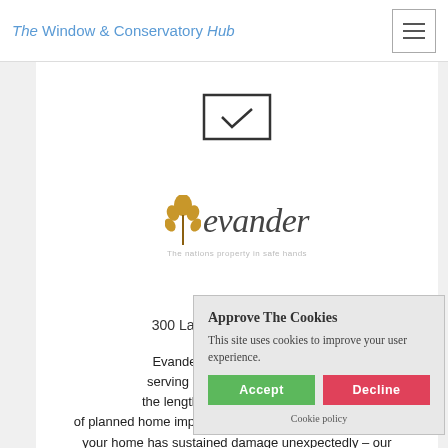The Window & Conservatory Hub
[Figure (logo): Evander logo with tagline 'The nations property in safe hands']
Evander
300 Lakeside, , , NR7 0WG
Evander are a nationwide p... serving both residential and c... the length and breadth of the U... of planned home improvements and can also help where your home has sustained damage unexpectedly – our response teams are on standby 24 hours a day, 7 days a
[Figure (screenshot): Cookie consent popup with title 'Approve The Cookies', text 'This site uses cookies to improve your user experience.', Accept and Decline buttons, and Cookie policy link]